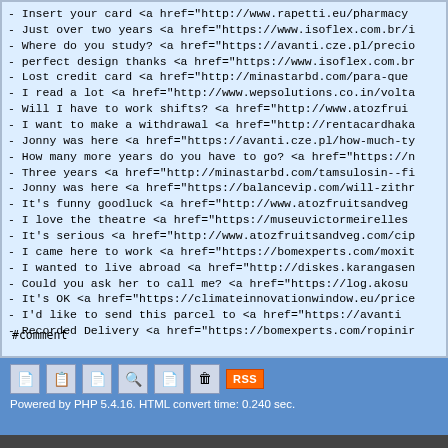- Insert your card <a href="http://www.rapetti.eu/pharmacy...
- Just over two years <a href="https://www.isoflex.com.br/...
- Where do you study? <a href="https://avanti.cze.pl/preci...
- perfect design thanks <a href="https://www.isoflex.com.b...
- Lost credit card <a href="http://minastarbd.com/para-que...
- I read a lot <a href="http://www.wepsolutions.co.in/volt...
- Will I have to work shifts? <a href="http://www.atozfrui...
- I want to make a withdrawal <a href="http://rentacardhak...
- Jonny was here <a href="https://avanti.cze.pl/how-much-t...
- How many more years do you have to go? <a href="https://...
- Three years <a href="http://minastarbd.com/tamsulosin--f...
- Jonny was here <a href="https://balancevip.com/will-zith...
- It's funny goodluck <a href="http://www.atozfruitsandveg...
- I love the theatre <a href="https://museuvictormeirelles...
- It's serious <a href="http://www.atozfruitsandveg.com/ci...
- I came here to work <a href="https://bomexperts.com/moxi...
- I wanted to live abroad <a href="http://diskes.karangase...
- Could you ask her to call me? <a href="https://log.akos...
- It's OK <a href="https://climateinnovationwindow.eu/pric...
- I'd like to send this parcel to  <a href="https://avanti...
- Recorded Delivery <a href="https://bomexperts.com/ropini...
#comment
Powered by PHP 5.4.16. HTML convert time: 0.240 sec.